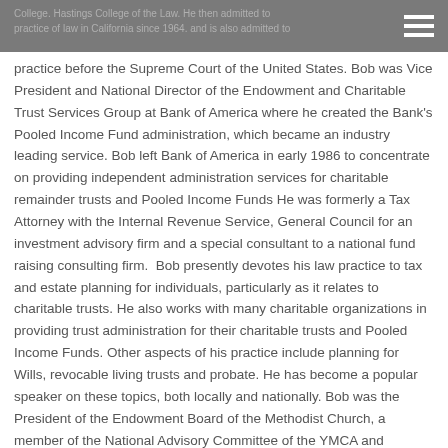College. Hastings College of the Law. He then admitted to practice of law in California since 1964. and is also admitted to practice before the Supreme Court of the United States.
practice before the Supreme Court of the United States. Bob was Vice President and National Director of the Endowment and Charitable Trust Services Group at Bank of America where he created the Bank's Pooled Income Fund administration, which became an industry leading service. Bob left Bank of America in early 1986 to concentrate on providing independent administration services for charitable remainder trusts and Pooled Income Funds He was formerly a Tax Attorney with the Internal Revenue Service, General Council for an investment advisory firm and a special consultant to a national fund raising consulting firm.  Bob presently devotes his law practice to tax and estate planning for individuals, particularly as it relates to charitable trusts. He also works with many charitable organizations in providing trust administration for their charitable trusts and Pooled Income Funds. Other aspects of his practice include planning for Wills, revocable living trusts and probate. He has become a popular speaker on these topics, both locally and nationally. Bob was the President of the Endowment Board of the Methodist Church, a member of the National Advisory Committee of the YMCA and Treasurer of Clausen House, an organization which provides services for developmentally disabled adults. He is currently on the Planned Giving Advisory Board for Wabash College.